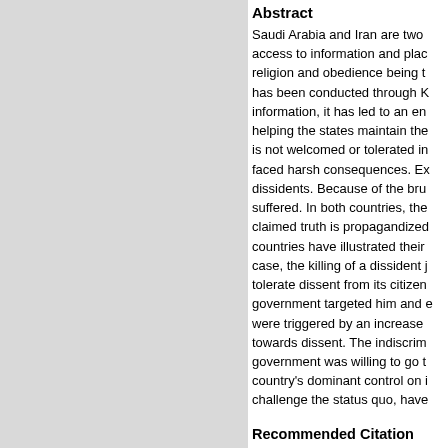Abstract
Saudi Arabia and Iran are two countries that restrict access to information and place heavy emphasis on religion and obedience being the central tenets. This has been conducted through K... information, it has led to an environment helping the states maintain their... is not welcomed or tolerated in... faced harsh consequences. Ex... dissidents. Because of the bru... suffered. In both countries, the... claimed truth is propagandized... countries have illustrated their... case, the killing of a dissident j... tolerate dissent from its citizen... government targeted him and e... were triggered by an increase... towards dissent. The indiscrim... government was willing to go t... country's dominant control on i... challenge the status quo, have...
Recommended Citation
Asadalla, Mohsen, "Education, di...
Symposium Of University Resear...